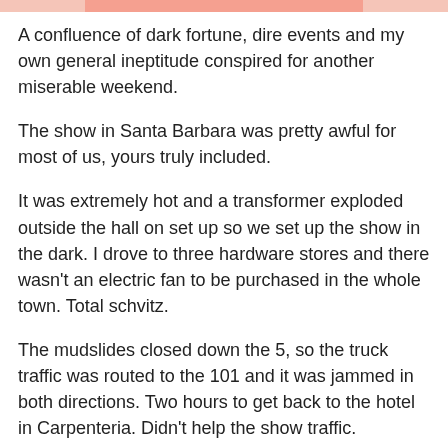[Figure (other): Decorative pink/salmon colored horizontal bar at top of page]
A confluence of dark fortune, dire events and my own general ineptitude conspired for another miserable weekend.
The show in Santa Barbara was pretty awful for most of us, yours truly included.
It was extremely hot and a transformer exploded outside the hall on set up so we set up the show in the dark. I drove to three hardware stores and there wasn't an electric fan to be purchased in the whole town. Total schvitz.
The mudslides closed down the 5, so the truck traffic was routed to the 101 and it was jammed in both directions. Two hours to get back to the hotel in Carpenteria. Didn't help the show traffic.
It seemed that the customers that did manage to show up were out for a weekend stroll, didn't see a lot of buyers anywhere and art definitely wasn't the bag of the rare customer with a pulse. You aren't going to get the full post mortem, that can wait. I will say that I had a couple sleepless